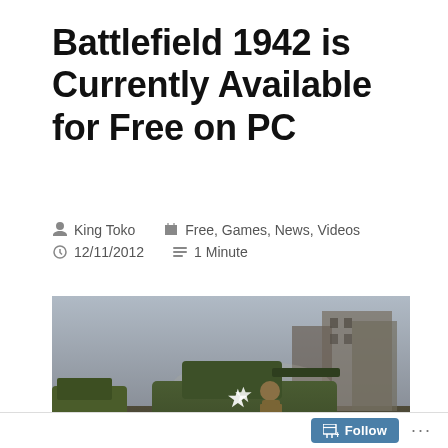Battlefield 1942 is Currently Available for Free on PC
King Toko  Free, Games, News, Videos  12/11/2012  1 Minute
[Figure (screenshot): First-person shooter perspective screenshot from Battlefield 1942. A green military tank with white star markings is shown with a soldier standing in front of it. A weapon barrel is visible in the foreground. Wartime European city backdrop.]
Follow  ...